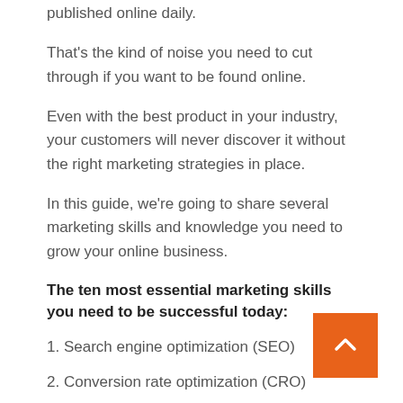published online daily.
That's the kind of noise you need to cut through if you want to be found online.
Even with the best product in your industry, your customers will never discover it without the right marketing strategies in place.
In this guide, we're going to share several marketing skills and knowledge you need to grow your online business.
The ten most essential marketing skills you need to be successful today:
1. Search engine optimization (SEO)
2. Conversion rate optimization (CRO)
3. ...